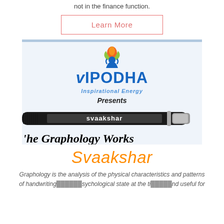not in the finance function.
Learn More
[Figure (logo): Vipodha Inspirational Energy logo with flame icon, pen with 'svaakshar' text, and 'The Graphology Works...' handwriting text]
Svaakshar
Graphology is the analysis of the physical characteristics and patterns of handwriting... psychological state at the time... and useful for...